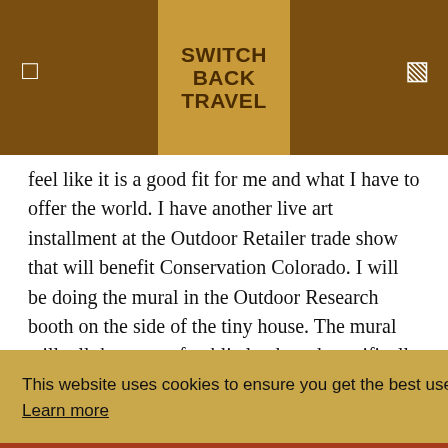SWITCH BACK TRAVEL
feel like it is a good fit for me and what I have to offer the world. I have another live art installment at the Outdoor Retailer trade show that will benefit Conservation Colorado. I will be doing the mural in the Outdoor Research booth on the side of the tiny house. The mural will tell the story of public lands and specifically the Continental Divide Campaign that
n end of lic to
This website uses cookies to ensure you get the best user experience. Learn more
Got it!